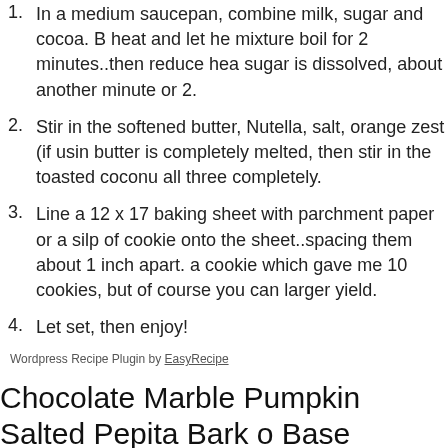1. In a medium saucepan, combine milk, sugar and cocoa. B heat and let he mixture boil for 2 minutes..then reduce hea sugar is dissolved, about another minute or 2.
2. Stir in the softened butter, Nutella, salt, orange zest (if usin butter is completely melted, then stir in the toasted coconu all three completely.
3. Line a 12 x 17 baking sheet with parchment paper or a silp of cookie onto the sheet..spacing them about 1 inch apart. a cookie which gave me 10 cookies, but of course you can larger yield.
4. Let set, then enjoy!
Wordpress Recipe Plugin by EasyRecipe
Chocolate Marble Pumpkin Salted Pepita Bark o Base
Prep time: 20 mins    Cook time: 10 mins    Total time: 30 mins
Yield: Depends on size pan you use.
ingredients: